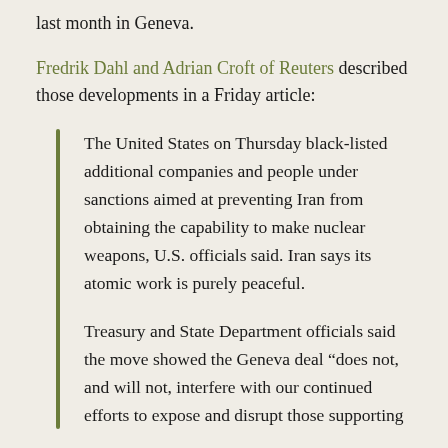last month in Geneva.
Fredrik Dahl and Adrian Croft of Reuters described those developments in a Friday article:
The United States on Thursday black-listed additional companies and people under sanctions aimed at preventing Iran from obtaining the capability to make nuclear weapons, U.S. officials said. Iran says its atomic work is purely peaceful.
Treasury and State Department officials said the move showed the Geneva deal “does not, and will not, interfere with our continued efforts to expose and disrupt those supporting